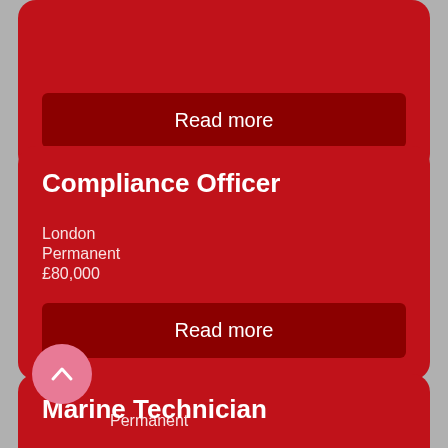Read more
Compliance Officer
London
Permanent
£80,000
Read more
Marine Technician
Permanent